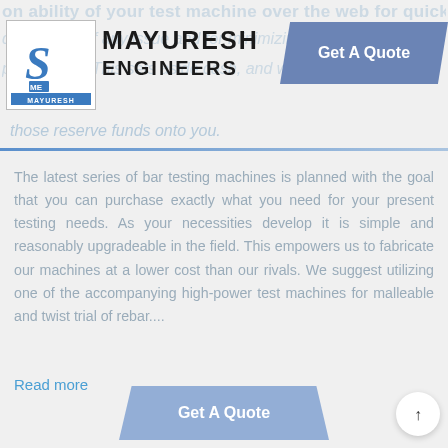[Figure (logo): Mayuresh Engineers company logo with stylized S and ME badge]
Mayuresh Engineers
those reserve funds onto you.
The latest series of bar testing machines is planned with the goal that you can purchase exactly what you need for your present testing needs. As your necessities develop it is simple and reasonably upgradeable in the field. This empowers us to fabricate our machines at a lower cost than our rivals. We suggest utilizing one of the accompanying high-power test machines for malleable and twist trial of rebar....
Read more